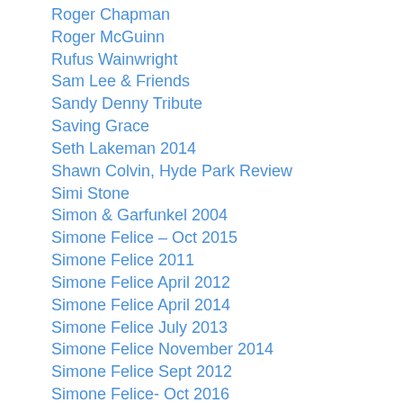Roger Chapman
Roger McGuinn
Rufus Wainwright
Sam Lee & Friends
Sandy Denny Tribute
Saving Grace
Seth Lakeman 2014
Shawn Colvin, Hyde Park Review
Simi Stone
Simon & Garfunkel 2004
Simone Felice – Oct 2015
Simone Felice 2011
Simone Felice April 2012
Simone Felice April 2014
Simone Felice July 2013
Simone Felice November 2014
Simone Felice Sept 2012
Simone Felice- Oct 2016
Sly & The Family Stone
Spiers & Boden 5.13